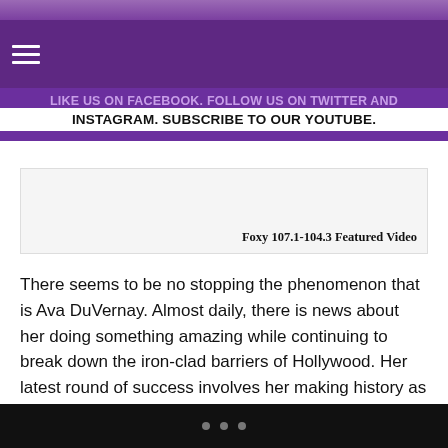LIKE US ON FACEBOOK. FOLLOW US ON TWITTER AND INSTAGRAM. SUBSCRIBE TO OUR YOUTUBE.
[Figure (screenshot): Foxy 107.1-104.3 Featured Video embed box with label text]
There seems to be no stopping the phenomenon that is Ava DuVernay. Almost daily, there is news about her doing something amazing while continuing to break down the iron-clad barriers of Hollywood. Her latest round of success involves her making history as the newest director of the $100 million movie club.
[Figure (photo): Photo of Ava DuVernay at a TV One / NAACP event, wearing braids]
• • •